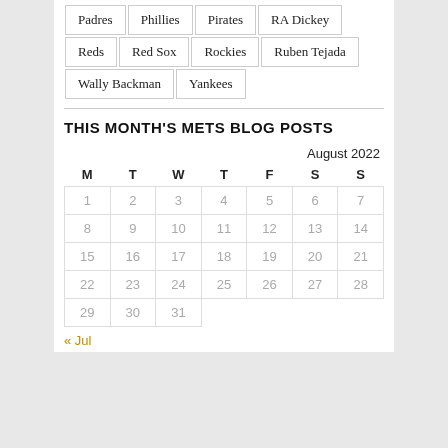Padres
Phillies
Pirates
RA Dickey
Reds
Red Sox
Rockies
Ruben Tejada
Wally Backman
Yankees
THIS MONTH'S METS BLOG POSTS
| M | T | W | T | F | S | S |
| --- | --- | --- | --- | --- | --- | --- |
| 1 | 2 | 3 | 4 | 5 | 6 | 7 |
| 8 | 9 | 10 | 11 | 12 | 13 | 14 |
| 15 | 16 | 17 | 18 | 19 | 20 | 21 |
| 22 | 23 | 24 | 25 | 26 | 27 | 28 |
| 29 | 30 | 31 |  |  |  |  |
« Jul